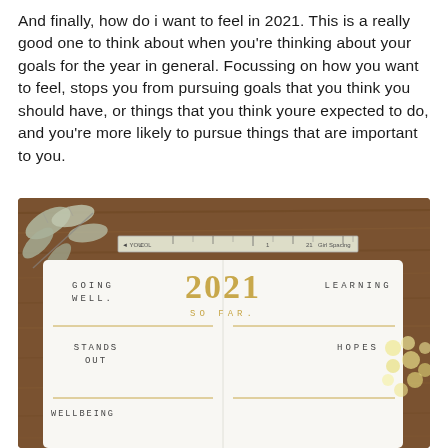And finally, how do i want to feel in 2021. This is a really good one to think about when you're thinking about your goals for the year in general. Focussing on how you want to feel, stops you from pursuing goals that you think you should have, or things that you think youre expected to do, and you're more likely to pursue things that are important to you.
[Figure (photo): Photo of an open journal/planner on a wooden table. The journal has sections labeled 'GOING WELL', '2021 SO FAR.', 'LEARNING', 'STANDS OUT', 'HOPES', and 'WELLBEING'. A ruler is visible at the top and there are floral decorations around the journal.]